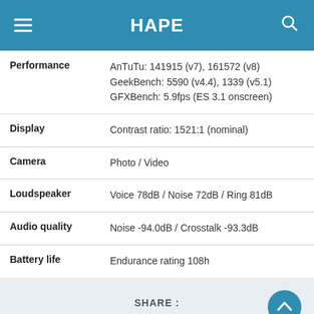HAPE
| Category | Value |
| --- | --- |
| Performance | AnTuTu: 141915 (v7), 161572 (v8)
GeekBench: 5590 (v4.4), 1339 (v5.1)
GFXBench: 5.9fps (ES 3.1 onscreen) |
| Display | Contrast ratio: 1521:1 (nominal) |
| Camera | Photo / Video |
| Loudspeaker | Voice 78dB / Noise 72dB / Ring 81dB |
| Audio quality | Noise -94.0dB / Crosstalk -93.3dB |
| Battery life | Endurance rating 108h |
SHARE :